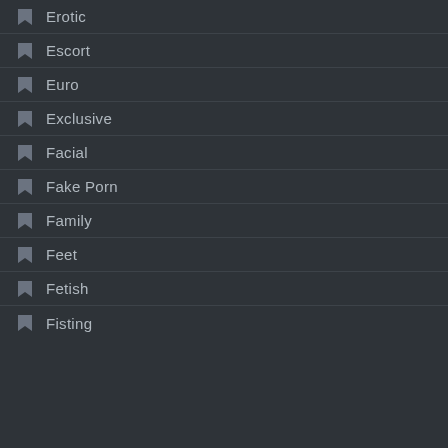Erotic
Escort
Euro
Exclusive
Facial
Fake Porn
Family
Feet
Fetish
Fisting